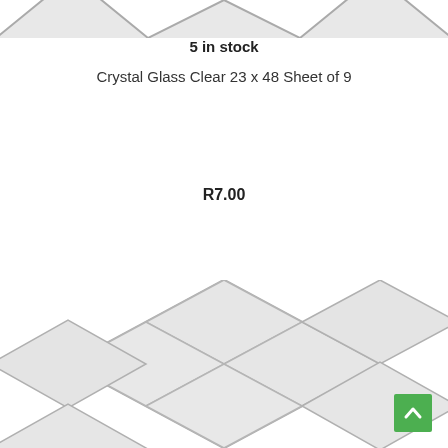[Figure (photo): Top portion of a crystal glass tile sheet, showing diamond/square pattern tiles with silver grout lines, partially cropped at the top of the page]
5 in stock
Crystal Glass Clear 23 x 48 Sheet of 9
R7.00
Add to cart
[Figure (photo): Bottom portion of a crystal glass tile sheet showing diamond/square pattern tiles arranged in a geometric pattern with silver grout lines, bottom half of page]
[Figure (other): Green scroll-to-top button with up arrow chevron in bottom right corner]